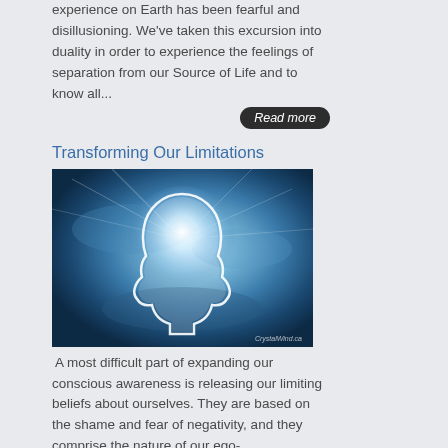experience on Earth has been fearful and disillusioning. We've taken this excursion into duality in order to experience the feelings of separation from our Source of Life and to know all...
Read more
Transforming Our Limitations
[Figure (illustration): Glowing white silhouette of a human head/profile against a blue cloudy background with light rays, watermark: CrystalWind.ca]
A most difficult part of expanding our conscious awareness is releasing our limiting beliefs about ourselves. They are based on the shame and fear of negativity, and they comprise the nature of our ego-consciousness.
Read more
How Unlimited Can We Be?
[Figure (illustration): Similar glowing white circular/head silhouette against a blue cloudy sky background (partially visible at bottom of page)]